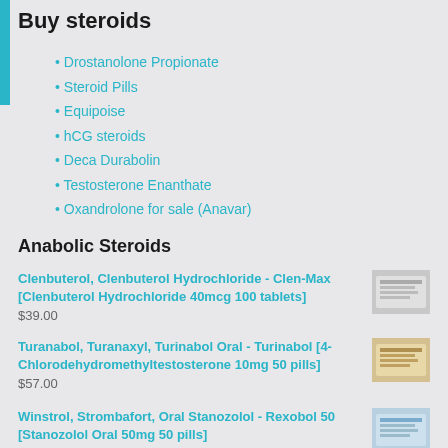Buy steroids
Drostanolone Propionate
Steroid Pills
Equipoise
hCG steroids
Deca Durabolin
Testosterone Enanthate
Oxandrolone for sale (Anavar)
Anabolic Steroids
Clenbuterol, Clenbuterol Hydrochloride - Clen-Max [Clenbuterol Hydrochloride 40mcg 100 tablets]
$39.00
[Figure (photo): Product image of Clenbuterol Hydrochloride Clen-Max tablets box]
Turanabol, Turanaxyl, Turinabol Oral - Turinabol [4-Chlorodehydromethyltestosterone 10mg 50 pills]
$57.00
[Figure (photo): Product image of Turinabol 4-Chlorodehydromethyltestosterone pills box]
Winstrol, Strombafort, Oral Stanozolol - Rexobol 50 [Stanozolol Oral 50mg 50 pills]
[Figure (photo): Product image of Rexobol 50 Stanozolol oral pills box]